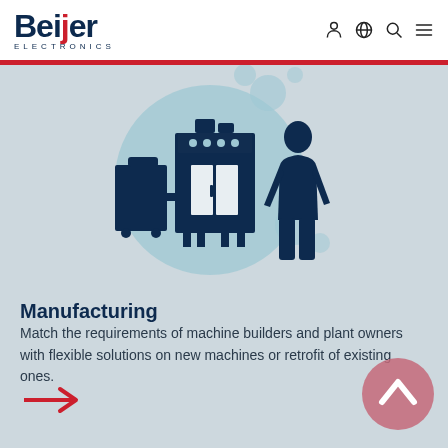Beijer Electronics
[Figure (illustration): Industrial scene with a human silhouette standing next to a machine cabinet with indicator lights and a wheeled auxiliary unit, set against teal decorative circles on a light blue-grey background]
Manufacturing
Match the requirements of machine builders and plant owners with flexible solutions on new machines or retrofit of existing ones.
[Figure (illustration): Red right-pointing arrow link]
[Figure (illustration): Pink/rose circular up-arrow button in bottom right corner]